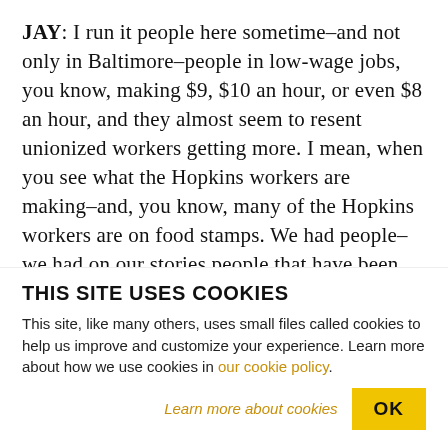JAY: I run it people here sometime–and not only in Baltimore–people in low-wage jobs, you know, making $9, $10 an hour, or even $8 an hour, and they almost seem to resent unionized workers getting more. I mean, when you see what the Hopkins workers are making–and, you know, many of the Hopkins workers are on food stamps. We had people–we had on our stories people that have been interviewed who were working there 14, 15 years, are still making $12. I know in your local you have guys
THIS SITE USES COOKIES
This site, like many others, uses small files called cookies to help us improve and customize your experience. Learn more about how we use cookies in our cookie policy.
Learn more about cookies
OK